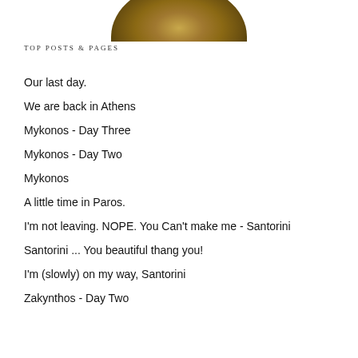[Figure (photo): Circular cropped photo showing dry golden grass or savanna landscape, only the bottom portion of the circle visible at the top of the page]
TOP POSTS & PAGES
Our last day.
We are back in Athens
Mykonos - Day Three
Mykonos - Day Two
Mykonos
A little time in Paros.
I'm not leaving. NOPE. You Can't make me - Santorini
Santorini ... You beautiful thang you!
I'm (slowly) on my way, Santorini
Zakynthos - Day Two